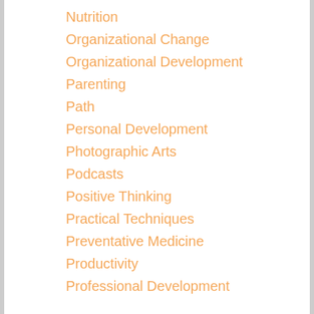Nutrition
Organizational Change
Organizational Development
Parenting
Path
Personal Development
Photographic Arts
Podcasts
Positive Thinking
Practical Techniques
Preventative Medicine
Productivity
Professional Development